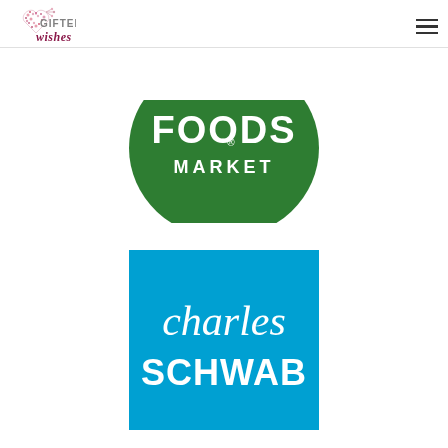[Figure (logo): Gifted Wishes logo — floral dandelion heart with text GIFTED wishes in purple/maroon script]
[Figure (logo): Whole Foods Market logo — partial green circle with FOODS MARKET text in white]
[Figure (logo): Charles Schwab logo — blue square background with 'charles' in white italic script and 'SCHWAB' in white bold sans-serif]